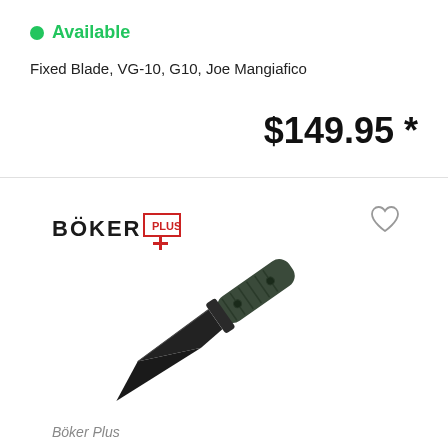Available
Fixed Blade, VG-10, G10, Joe Mangiafico
$149.95 *
[Figure (logo): Böker Plus logo in black and red]
[Figure (photo): Fixed blade knife with dark blade and green G10 handle, diagonal orientation]
Böker Plus